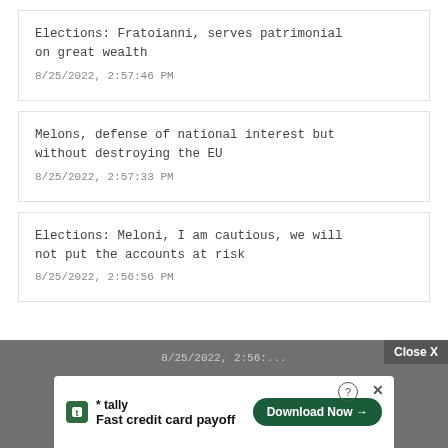Elections: Fratoianni, serves patrimonial on great wealth
8/25/2022, 2:57:46 PM
Melons, defense of national interest but without destroying the EU
8/25/2022, 2:57:33 PM
Elections: Meloni, I am cautious, we will not put the accounts at risk
8/25/2022, 2:56:56 PM
[Figure (screenshot): Footer area with dark gray background showing a 'Close X' button, partial text of another article, and an advertisement banner for Tally 'Fast credit card payoff' with a 'Download Now' button.]